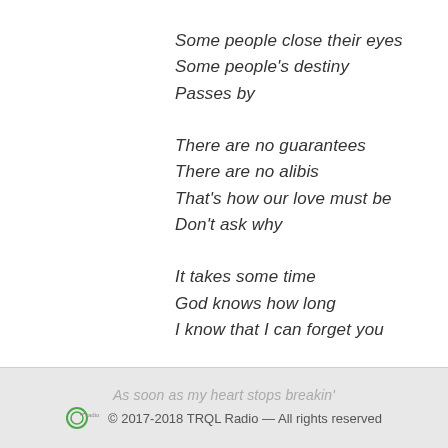Some people close their eyes
Some people's destiny
Passes by
There are no guarantees
There are no alibis
That's how our love must be
Don't ask why
It takes some time
God knows how long
I know that I can forget you
As soon as my heart stops breakin'
© 2017-2018 TRQL Radio — All rights reserved